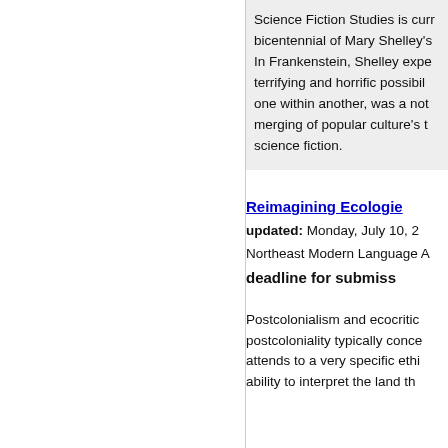Science Fiction Studies is currently celebrating the bicentennial of Mary Shelley's... In Frankenstein, Shelley explored the terrifying and horrific possibilities... one within another, was a novel... merging of popular culture's themes with science fiction.
Reimagining Ecologies
updated: Monday, July 10, 2...
Northeast Modern Language A...
deadline for submiss...
Postcolonialism and ecocriti... postcoloniality typically conce... attends to a very specific ethi... ability to interpret the land th...